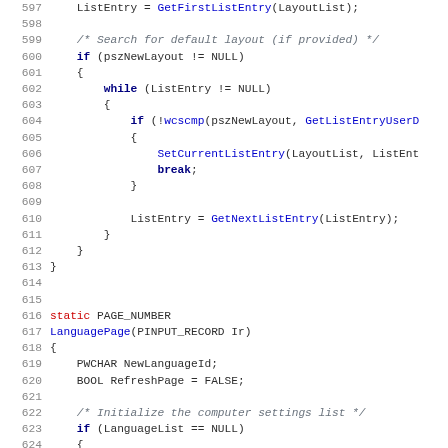[Figure (screenshot): Source code listing showing C code lines 597-628, with syntax highlighting. Line numbers in gray on left, keywords in dark blue bold, function names in blue, comments in italic gray, some identifiers in red.]